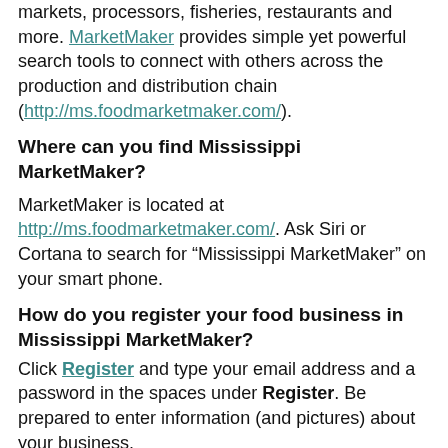markets, processors, fisheries, restaurants and more. MarketMaker provides simple yet powerful search tools to connect with others across the production and distribution chain (http://ms.foodmarketmaker.com/).
Where can you find Mississippi MarketMaker?
MarketMaker is located at http://ms.foodmarketmaker.com/. Ask Siri or Cortana to search for “Mississippi MarketMaker” on your smart phone.
How do you register your food business in Mississippi MarketMaker?
Click Register and type your email address and a password in the spaces under Register. Be prepared to enter information (and pictures) about your business.
What are the benefits in registering your food business in Mississippi MarketMaker?